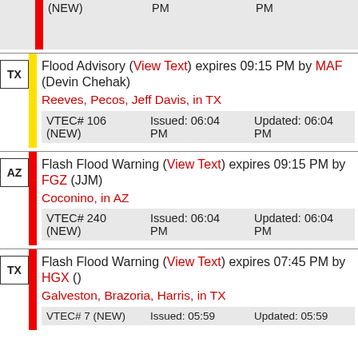(NEW) PM PM
TX Flood Advisory (View Text) expires 09:15 PM by MAF (Devin Chehak) Reeves, Pecos, Jeff Davis, in TX VTEC# 106 (NEW) Issued: 06:04 PM Updated: 06:04 PM
AZ Flash Flood Warning (View Text) expires 09:15 PM by FGZ (JJM) Coconino, in AZ VTEC# 240 (NEW) Issued: 06:04 PM Updated: 06:04 PM
TX Flash Flood Warning (View Text) expires 07:45 PM by HGX () Galveston, Brazoria, Harris, in TX VTEC# 7 (NEW) Issued: 05:59 Updated: 05:59